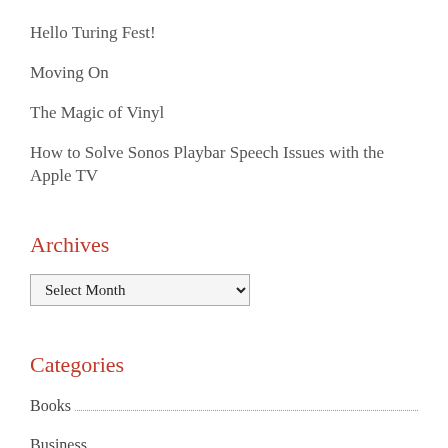Hello Turing Fest!
Moving On
The Magic of Vinyl
How to Solve Sonos Playbar Speech Issues with the Apple TV
Archives
Select Month
Categories
Books
Business
China
Conferences